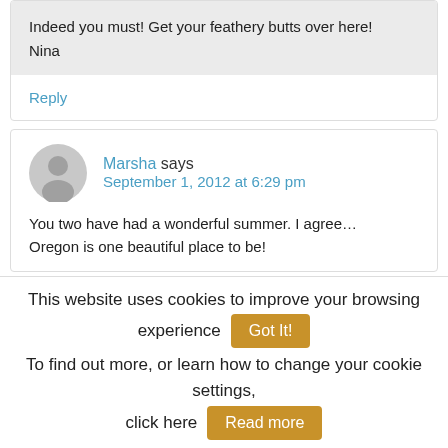Indeed you must! Get your feathery butts over here!
Nina
Reply
Marsha says
September 1, 2012 at 6:29 pm
You two have had a wonderful summer. I agree…
Oregon is one beautiful place to be!
This website uses cookies to improve your browsing experience   Got It!
To find out more, or learn how to change your cookie settings, click here   Read more